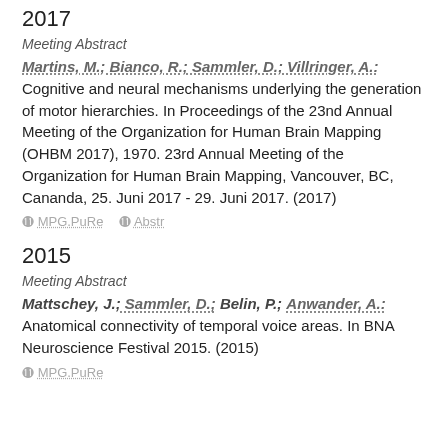2017
Meeting Abstract
Martins, M.; Bianco, R.; Sammler, D.; Villringer, A.: Cognitive and neural mechanisms underlying the generation of motor hierarchies. In Proceedings of the 23nd Annual Meeting of the Organization for Human Brain Mapping (OHBM 2017), 1970. 23rd Annual Meeting of the Organization for Human Brain Mapping, Vancouver, BC, Cananda, 25. Juni 2017 - 29. Juni 2017. (2017)
MPG.PuRe   Abstr
2015
Meeting Abstract
Mattschey, J.; Sammler, D.; Belin, P.; Anwander, A.: Anatomical connectivity of temporal voice areas. In BNA Neuroscience Festival 2015. (2015)
MPG.PuRe